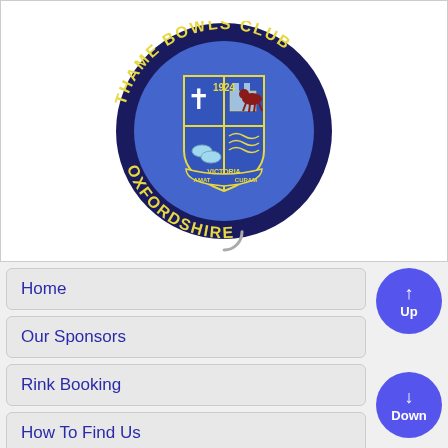[Figure (logo): Thame Bowls Club Oxfordshire circular badge logo, established 1924. Dark navy blue circular border with gold text reading 'THAME BOWLS CLUB' at top and 'OXFORDSHIRE' at bottom. Central shield quartered with: cross symbol (top-left), castle/building (top-right), two bowls (bottom-left), ox/bull (top-right inner), and landscape with water (bottom-right). Scroll banner at bottom reads 'VICTORIA AMAT CURAM'. Background is blue.]
Home
Our Sponsors
Rink Booking
How To Find Us